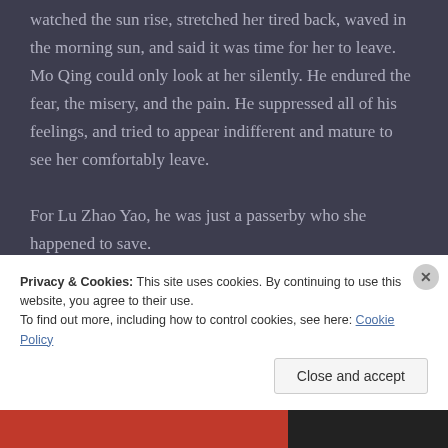watched the sun rise, stretched her tired back, waved in the morning sun, and said it was time for her to leave. Mo Qing could only look at her silently. He endured the fear, the misery, and the pain. He suppressed all of his feelings, and tried to appear indifferent and mature to see her comfortably leave.
For Lu Zhao Yao, he was just a passerby who she happened to save.
While he, a passerby, who had no other option than to set up and face his own mentality, from then on, he stayed in
Privacy & Cookies: This site uses cookies. By continuing to use this website, you agree to their use.
To find out more, including how to control cookies, see here: Cookie Policy
Close and accept